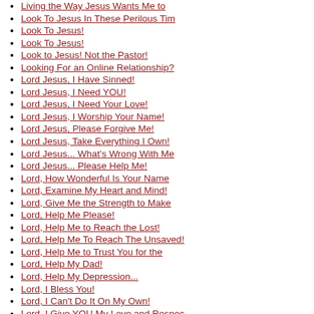Living the Way Jesus Wants Me to
Look To Jesus In These Perilous Tim
Look To Jesus!
Look To Jesus!
Look to Jesus! Not the Pastor!
Looking For an Online Relationship?
Lord Jesus, I Have Sinned!
Lord Jesus, I Need YOU!
Lord Jesus, I Need Your Love!
Lord Jesus, I Worship Your Name!
Lord Jesus, Please Forgive Me!
Lord Jesus, Take Everything I Own!
Lord Jesus... What's Wrong With Me
Lord Jesus... Please Help Me!
Lord, How Wonderful Is Your Name
Lord, Examine My Heart and Mind!
Lord, Give Me the Strength to Make
Lord, Help Me Please!
Lord, Help Me to Reach the Lost!
Lord, Help Me To Reach The Unsaved!
Lord, Help Me to Trust You for the
Lord, Help My Dad!
Lord, Help My Depression...
Lord, I Bless You!
Lord, I Can't Do It On My Own!
Lord, I Give YOU My Love and Respec
Lord, I Just Want to Thank You!
Lord, I Just Want to Thank You!
Lord, I Need Your Correction!
Lord, I Praise and Thank You!